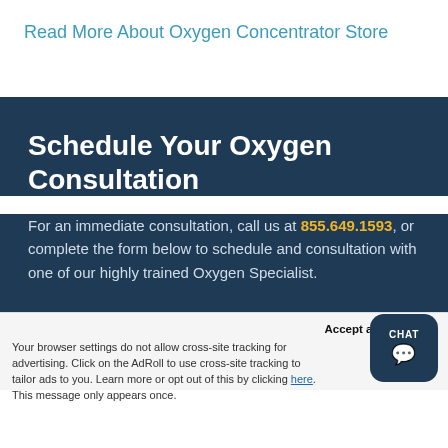Read More About Oxygen Concentrator Store
Schedule Your Oxygen Consultation
For an immediate consultation, call us at 855.649.1593, or complete the form below to schedule and consultation with one of our highly trained Oxygen Specialist.
Accept and Close × Your browser settings do not allow cross-site tracking for advertising. Click on the AdRoll to use cross-site tracking to tailor ads to you. Learn more or opt out of this by clicking here. This message only appears once.